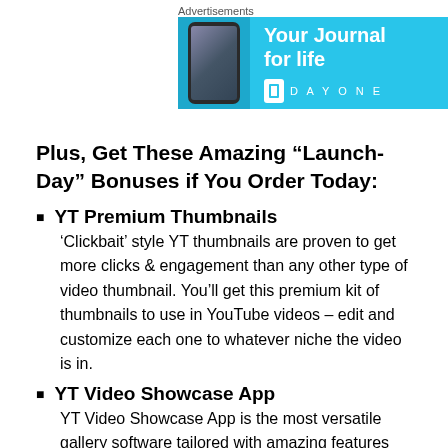[Figure (other): Advertisement banner for DayOne journal app showing a phone and the text 'Your Journal for life' on a light blue background with DAYONE branding]
Plus, Get These Amazing “Launch-Day” Bonuses if You Order Today:
YT Premium Thumbnails
‘Clickbait’ style YT thumbnails are proven to get more clicks & engagement than any other type of video thumbnail. You’ll get this premium kit of thumbnails to use in YouTube videos – edit and customize each one to whatever niche the video is in.
YT Video Showcase App
YT Video Showcase App is the most versatile gallery software tailored with amazing features and spectacular designs. It is the ultimate gallery plugin that allows you to showcase your videos to sell to